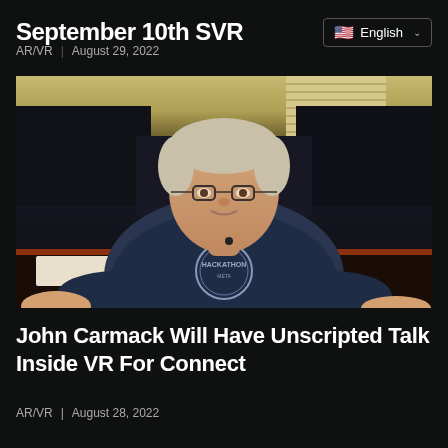September 10th SVR
AR/VR | August 29, 2022
[Figure (photo): A man wearing glasses and a navy blue Hackathon t-shirt sitting in front of computer monitors in an office/studio setting. This is John Carmack.]
John Carmack Will Have Unscripted Talk Inside VR For Connect
AR/VR | August 28, 2022